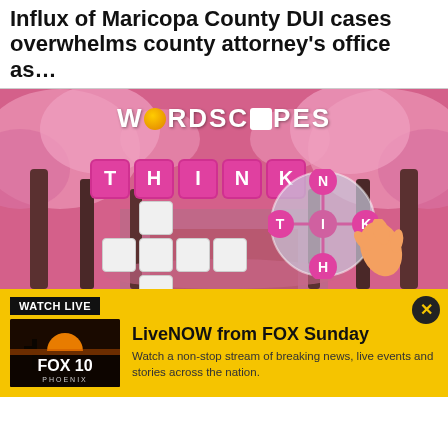Influx of Maricopa County DUI cases overwhelms county attorney's office as…
[Figure (illustration): Wordscapes mobile game advertisement showing a cherry blossom tree-lined path in pink, with the word THINK displayed in pink letter tiles, a crossword grid, and a circular letter wheel with letters T, N, K, I, H. A hand points at the wheel. The logo 'WORDSCAPES' appears at top with an orange circle replacing the O.]
WATCH LIVE
[Figure (logo): FOX 10 Phoenix logo on dark background with a sunset/desert landscape image]
LiveNOW from FOX Sunday
Watch a non-stop stream of breaking news, live events and stories across the nation.